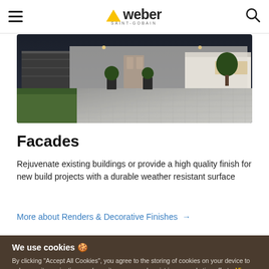weber SAINT-GOBAIN
[Figure (photo): Aerial/ground-level evening photo of a modern house with a cobblestone driveway, garage, garden trees, and illuminated windows]
Facades
Rejuvenate existing buildings or provide a high quality finish for new build projects with a durable weather resistant surface
More about Renders & Decorative Finishes →
We use cookies 🍪
By clicking "Accept All Cookies", you agree to the storing of cookies on your device to enhance site navigation, analyze site usage, and assist in our marketing efforts. View our cookie policy